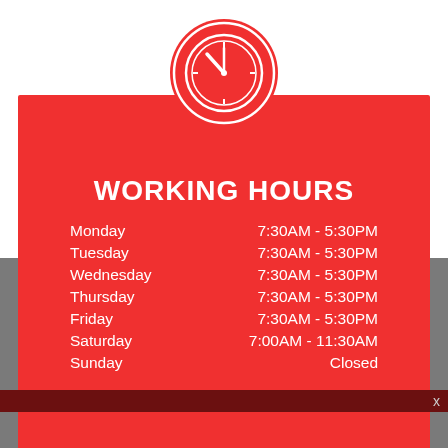[Figure (infographic): Clock icon circle in red with white clock face, positioned at top center above the working hours card]
WORKING HOURS
Monday    7:30AM - 5:30PM
Tuesday    7:30AM - 5:30PM
Wednesday    7:30AM - 5:30PM
Thursday    7:30AM - 5:30PM
Friday    7:30AM - 5:30PM
Saturday    7:00AM - 11:30AM
Sunday    Closed
TAP TO CALL NOW
260-627-2619
[Figure (illustration): Location pin icon outline in gold/tan color at the bottom center]